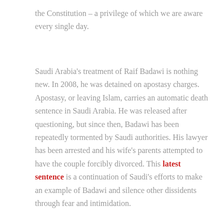the Constitution – a privilege of which we are aware every single day.
Saudi Arabia's treatment of Raif Badawi is nothing new. In 2008, he was detained on apostasy charges. Apostasy, or leaving Islam, carries an automatic death sentence in Saudi Arabia. He was released after questioning, but since then, Badawi has been repeatedly tormented by Saudi authorities. His lawyer has been arrested and his wife's parents attempted to have the couple forcibly divorced. This latest sentence is a continuation of Saudi's efforts to make an example of Badawi and silence other dissidents through fear and intimidation.